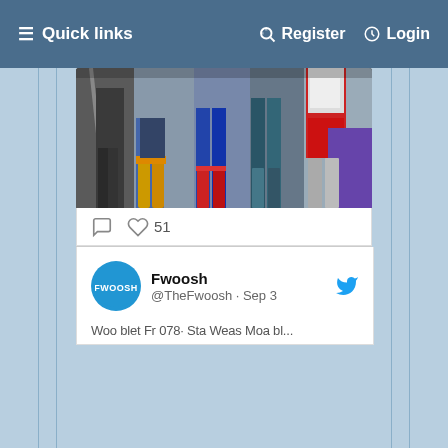≡ Quick links   Register   Login
[Figure (screenshot): Bottom portion of a photo showing multiple costumed figures from the waist down wearing various boots and footwear, appearing to be action figure or cosplay costume comparison]
51
[Figure (screenshot): Twitter card for @TheFwoosh account named Fwoosh, dated Sep 3, with partial tweet text visible at bottom]
Fwoosh @TheFwoosh · Sep 3